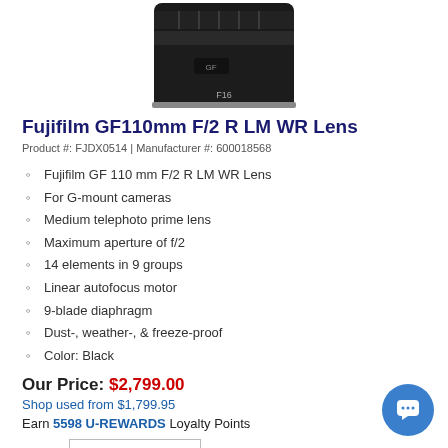[Figure (photo): Close-up photo of a Fujifilm GF110mm F/2 R LM WR Lens, showing the top and front of the lens barrel in black, cropped at top of page.]
Fujifilm GF110mm F/2 R LM WR Lens
Product #: FJDX0514 | Manufacturer #: 600018568
Fujifilm GF 110 mm F/2 R LM WR Lens
For G-mount cameras
Medium telephoto prime lens
Maximum aperture of f/2
14 elements in 9 groups
Linear autofocus motor
9-blade diaphragm
Dust-, weather-, & freeze-proof
Color: Black
Our Price: $2,799.00
Shop used from $1,799.95
Earn 5598 U-REWARDS Loyalty Points
QTY  1   In Stock